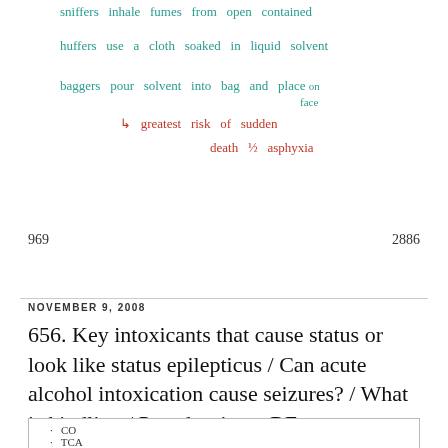sniffers inhale fumes from open container
huffers use a cloth soaked in liquid solvent
baggers pour solvent into bag and place on face
→ greatest risk of sudden death ½ asphyxia
969    2886
NOVEMBER 9, 2008
656. Key intoxicants that cause status or look like status epilepticus / Can acute alcohol intoxication cause seizures? / What is kindling / Pseudoseizure RFs
· CO
· TCA